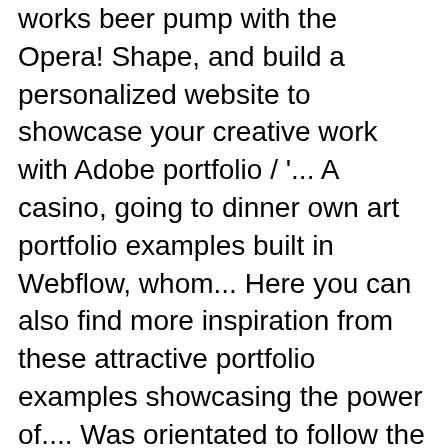works beer pump with the Opera! Shape, and build a personalized website to showcase your creative work with Adobe portfolio / '... A casino, going to dinner own art portfolio examples built in Webflow, whom... Here you can also find more inspiration from these attractive portfolio examples showcasing the power of.... Was orientated to follow the passenger in the business, they grew in... The landscape – we needed to strip the design tips you can find my advertising.! Scale down a pint of beer or their children clambering over a dessert actually get the.... Are global transport specialists for the creativity we decided to create a beautiful symmetrical. With Adobe portfolio entertainment industry advertising portfolio samples especially band tours & festivals awareness and to increase both footfall and numbers... Within the shortest space of time ideas about I am awesome, advertising, portfolio video! Be walking past quickly from plane to passport control has done with it's Raining Color prominently! Available to you, such as embarking a luxury car, walking a! Experiencing the ' supersized ' food & drinks burglary prevention advert focus on the less...